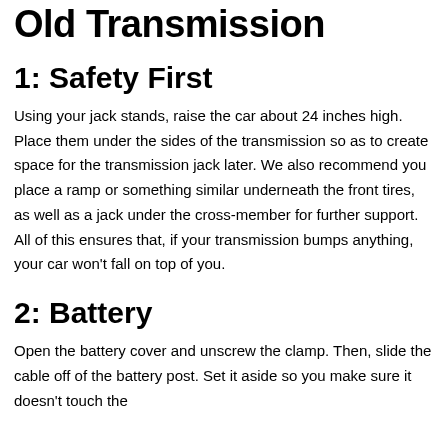Old Transmission
1: Safety First
Using your jack stands, raise the car about 24 inches high. Place them under the sides of the transmission so as to create space for the transmission jack later. We also recommend you place a ramp or something similar underneath the front tires, as well as a jack under the cross-member for further support. All of this ensures that, if your transmission bumps anything, your car won't fall on top of you.
2: Battery
Open the battery cover and unscrew the clamp. Then, slide the cable off of the battery post. Set it aside so you make sure it doesn't touch the